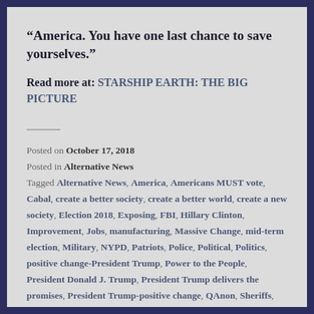“America. You have one last chance to save yourselves.”
Read more at: STARSHIP EARTH: THE BIG PICTURE
Posted on October 17, 2018
Posted in Alternative News
Tagged Alternative News, America, Americans MUST vote, Cabal, create a better society, create a better world, create a new society, Election 2018, Exposing, FBI, Hillary Clinton, Improvement, Jobs, manufacturing, Massive Change, mid-term election, Military, NYPD, Patriots, Police, Political, Politics, positive change-President Trump, Power to the People, President Donald J. Trump, President Trump delivers the promises, President Trump-positive change, QAnon, Sheriffs, Support, support the President, the World, US Election 2018, US News, USA, USElection2018, Vote, vote